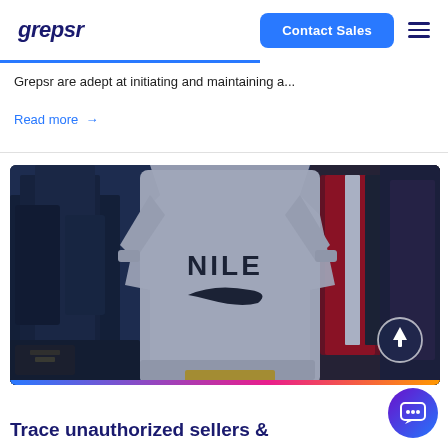grepsr
Grepsr are adept at initiating and maintaining a...
Read more →
[Figure (photo): Market stall selling counterfeit goods including a white sweatshirt with 'NILE' text and Nike swoosh logo, surrounded by various clothing items on racks in a dark market setting]
Trace unauthorized sellers &